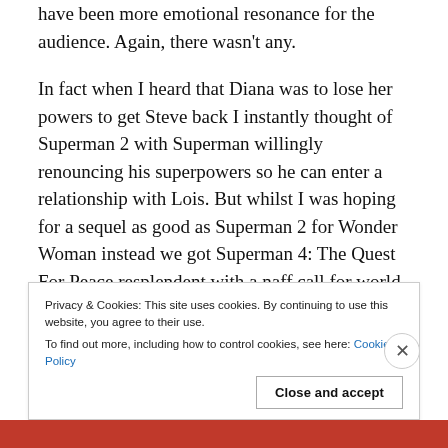have been more emotional resonance for the audience. Again, there wasn't any.
In fact when I heard that Diana was to lose her powers to get Steve back I instantly thought of Superman 2 with Superman willingly renouncing his superpowers so he can enter a relationship with Lois. But whilst I was hoping for a sequel as good as Superman 2 for Wonder Woman instead we got Superman 4: The Quest For Peace resplendent with a naff call for world peace in a nuclear free world.
Privacy & Cookies: This site uses cookies. By continuing to use this website, you agree to their use.
To find out more, including how to control cookies, see here: Cookie Policy
Close and accept